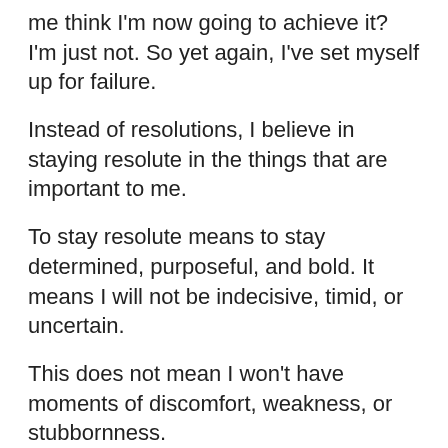me think I'm now going to achieve it? I'm just not. So yet again, I've set myself up for failure.
Instead of resolutions, I believe in staying resolute in the things that are important to me.
To stay resolute means to stay determined, purposeful, and bold. It means I will not be indecisive, timid, or uncertain.
This does not mean I won't have moments of discomfort, weakness, or stubbornness.
It does mean I will keep the things that are important to me foremost in mind. My faith, family, friends, health, ability to earn a living and pay my debts. Laughter. My puppies. Social justice. More laughter.
It means...